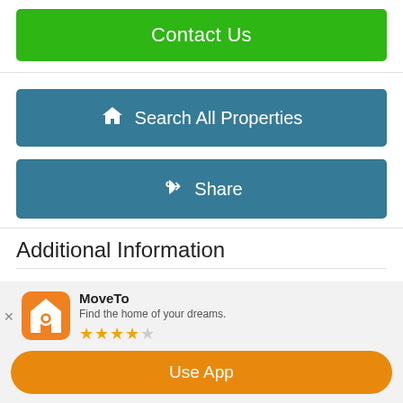Contact Us
Search All Properties
Share
Additional Information
Levels: 2 Stories
MoveTo — Find the home of your dreams. ★★★★☆
Use App